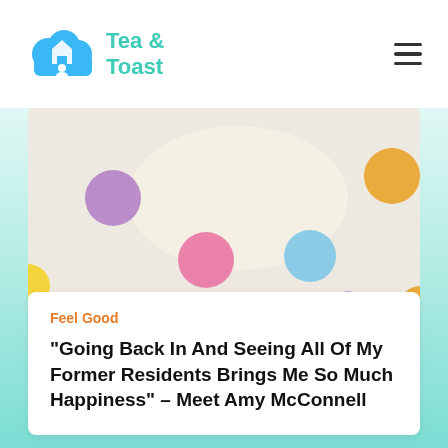Tea & Toast
[Figure (photo): Colorful paper polka dots (purple, pink, blue, orange, yellow) and a cream paper speech bubble on a light background.]
Feel Good
“Going Back In And Seeing All Of My Former Residents Brings Me So Much Happiness” – Meet Amy McConnell